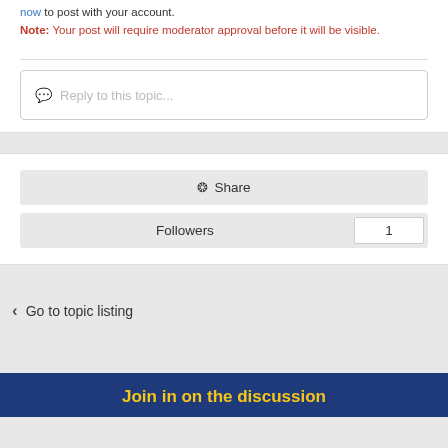now to post with your account.
Note: Your post will require moderator approval before it will be visible.
Reply to this topic...
Share
Followers  1
Go to topic listing
Join in on the discussion